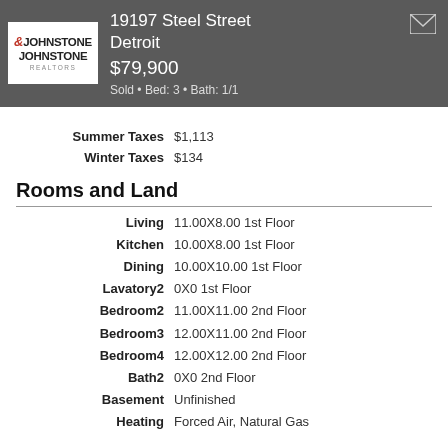19197 Steel Street Detroit $79,900 Sold • Bed: 3 • Bath: 1/1
Summer Taxes $1,113
Winter Taxes $134
Rooms and Land
| Room | Details |
| --- | --- |
| Living | 11.00X8.00 1st Floor |
| Kitchen | 10.00X8.00 1st Floor |
| Dining | 10.00X10.00 1st Floor |
| Lavatory2 | 0X0 1st Floor |
| Bedroom2 | 11.00X11.00 2nd Floor |
| Bedroom3 | 12.00X11.00 2nd Floor |
| Bedroom4 | 12.00X12.00 2nd Floor |
| Bath2 | 0X0 2nd Floor |
| Basement | Unfinished |
| Heating | Forced Air, Natural Gas |